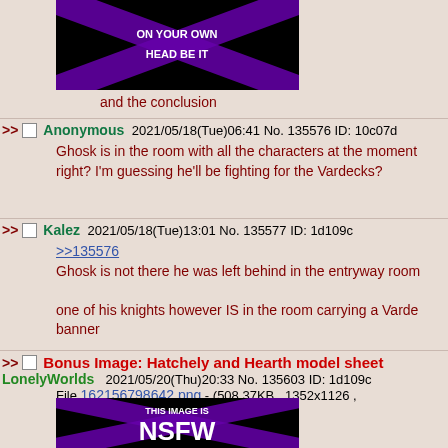[Figure (illustration): NSFW spoiler image with black background, purple X overlay, text 'ON YOUR OWN HEAD BE IT']
and the conclusion
Anonymous 2021/05/18(Tue)06:41 No. 135576 ID: 10c07d
Ghosk is in the room with all the characters at the moment right? I'm guessing he'll be fighting for the Vardecks?
Kalez 2021/05/18(Tue)13:01 No. 135577 ID: 1d109c
>>135576
Ghosk is not there he was left behind in the entryway room

one of his knights however IS in the room carrying a Vardeck banner
Bonus Image: Hatchely and Hearth model sheet
LonelyWorlds 2021/05/20(Thu)20:33 No. 135603 ID: 1d109c
File 162156798642.png - (508.37KB , 1352x1126 , ModelSheetsH&H.png )
[Figure (illustration): NSFW spoiler image with black background, purple X overlay, text 'THIS IMAGE IS NSFW']